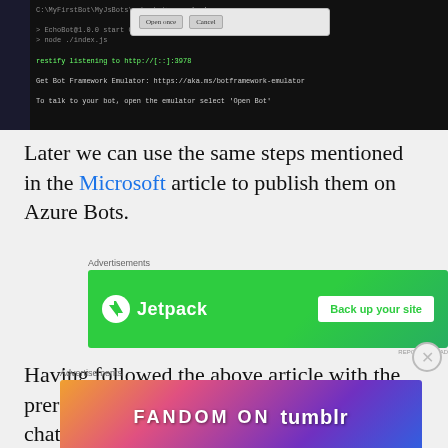[Figure (screenshot): Terminal window showing npm start command running EchoBot, with a dialog overlay containing 'Open once' and 'Cancel' buttons, and a debug log filename in top right]
Later we can use the same steps mentioned in the Microsoft article to publish them on Azure Bots.
[Figure (other): Jetpack advertisement banner: green background with Jetpack logo on left and 'Back up your site' button on right]
Having followed the above article with the prerequisites , we can test our bot in web chat.
[Figure (other): Fandom on Tumblr advertisement banner with colorful gradient background]